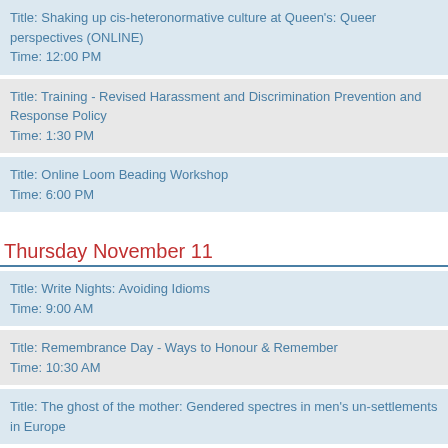Title: Shaking up cis-heteronormative culture at Queen's: Queer perspectives (ONLINE)
Time: 12:00 PM
Title: Training - Revised Harassment and Discrimination Prevention and Response Policy
Time: 1:30 PM
Title: Online Loom Beading Workshop
Time: 6:00 PM
Thursday November 11
Title: Write Nights: Avoiding Idioms
Time: 9:00 AM
Title: Remembrance Day - Ways to Honour & Remember
Time: 10:30 AM
Title: The ghost of the mother: Gendered spectres in men's un-settlements in Europe